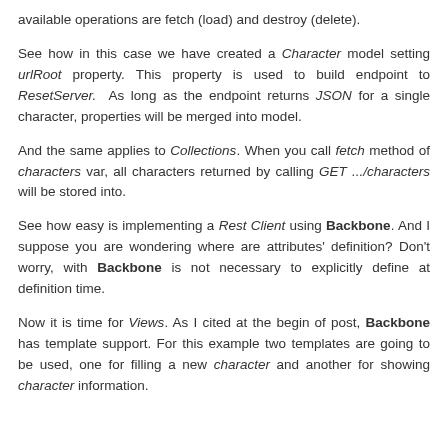available operations are fetch (load) and destroy (delete).
See how in this case we have created a Character model setting urlRoot property. This property is used to build endpoint to ResetServer. As long as the endpoint returns JSON for a single character, properties will be merged into model.
And the same applies to Collections. When you call fetch method of characters var, all characters returned by calling GET .../characters will be stored into.
See how easy is implementing a Rest Client using Backbone. And I suppose you are wondering where are attributes' definition? Don't worry, with Backbone is not necessary to explicitly define at definition time.
Now it is time for Views. As I cited at the begin of post, Backbone has template support. For this example two templates are going to be used, one for filling a new character and another for showing character information.